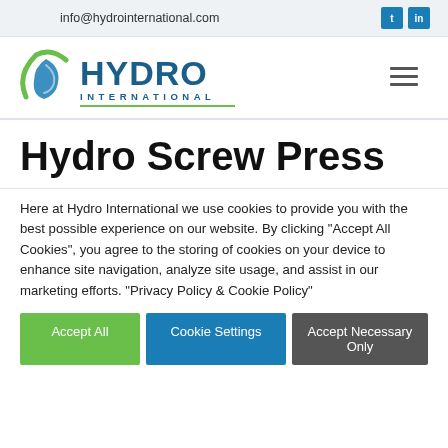info@hydrointernational.com
[Figure (logo): Hydro International logo with water-drop icon, blue HYDRO text, and INTERNATIONAL subtitle with green underline]
Hydro Screw Press
Here at Hydro International we use cookies to provide you with the best possible experience on our website. By clicking "Accept All Cookies", you agree to the storing of cookies on your device to enhance site navigation, analyze site usage, and assist in our marketing efforts. "Privacy Policy & Cookie Policy"
Accept All | Cookie Settings | Accept Necessary Only